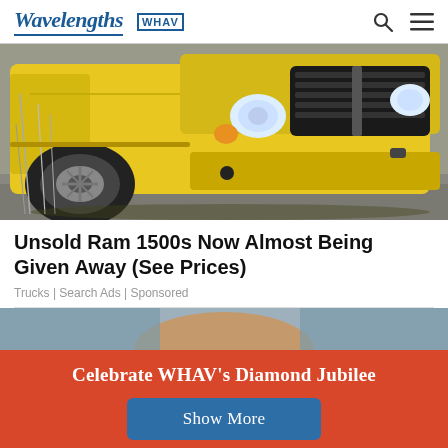Wavelengths | WHAV
[Figure (photo): Front view of a yellow Dodge Ram 1500 pickup truck parked on cobblestones]
Unsold Ram 1500s Now Almost Being Given Away (See Prices)
Trucks | Search Ads | Sponsored
[Figure (photo): Partial image of a person, second article thumbnail]
Celebrate WHAV's Diamond Jubilee
Show More